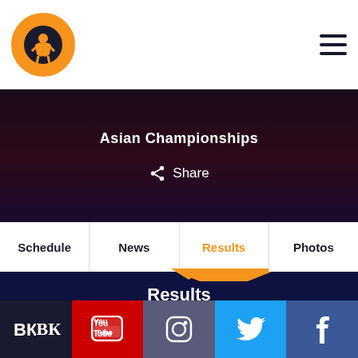Asian Championships
Share
Schedule | News | Results | Photos
Results
Official United World Wrestling Results
Freestyle | Greco-Roman | Women's wrestling
Weight Category
57 kg  61 kg  65 kg  70 kg  74 kg  86 kg  97 kg  125 kg
VK YouTube Instagram Twitter Facebook